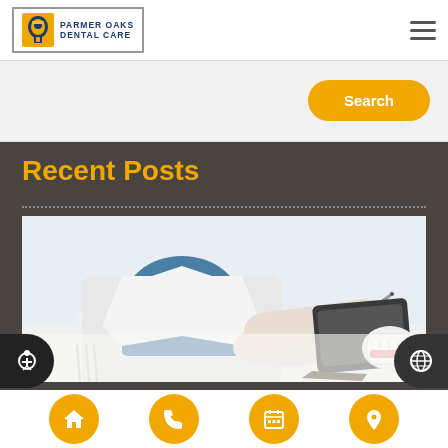[Figure (logo): Parmer Oaks Dental Care logo with decorative icon and text]
[Figure (screenshot): Search button (yellow/orange rounded button with text 'Search')]
Recent Posts
[Figure (photo): Dental professional in white coat and blue scrubs writing on a tablet, with dental model visible on white desk]
[Figure (infographic): Bottom navigation bar with four yellow circular buttons: home, phone, calendar, location]